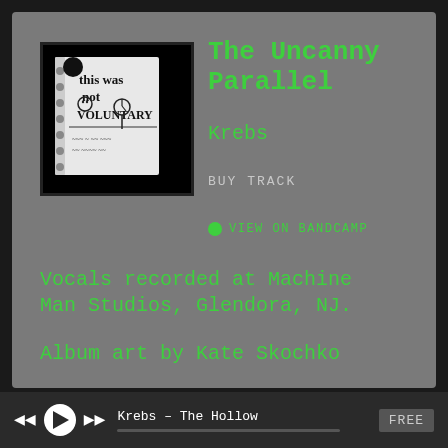[Figure (illustration): Album art: black and white hand-drawn sketch of a notebook/zine cover reading 'this was not voluntary' with doodles]
The Uncanny Parallel
Krebs
BUY TRACK
VIEW ON BANDCAMP
Vocals recorded at Machine Man Studios, Glendora, NJ.
Album art by Kate Skochko
Krebs - The Hollow   FREE